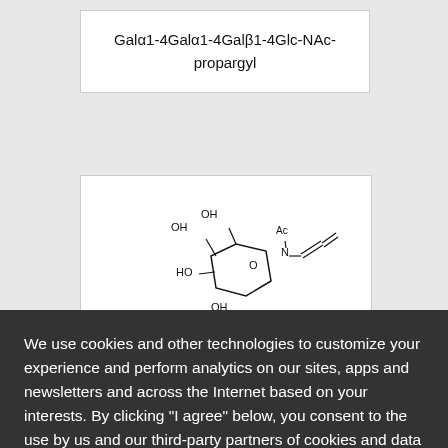Galα1-4Galα1-4Galβ1-4Glc-NAc-propargyl
[Figure (illustration): Chemical structure diagram of Galactose-NAc-propargyl showing a sugar ring with OH groups, Ac group, and propargyl substituent]
Galactose-NAc-propargyl
We use cookies and other technologies to customize your experience and perform analytics on our sites, apps and newsletters and across the Internet based on your interests. By clicking "I agree" below, you consent to the use by us and our third-party partners of cookies and data gathered from your use of our platforms.
More info
Customize Cookies
REJECT ALL
I AGREE